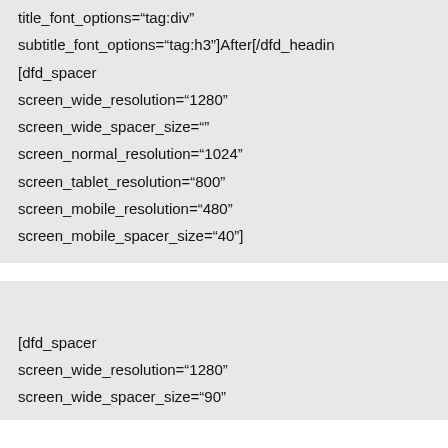title_font_options="tag:div"
subtitle_font_options="tag:h3"]After[/dfd_headin
[dfd_spacer
screen_wide_resolution="1280"
screen_wide_spacer_size=""
screen_normal_resolution="1024"
screen_tablet_resolution="800"
screen_mobile_resolution="480"
screen_mobile_spacer_size="40"]
[dfd_spacer
screen_wide_resolution="1280"
screen_wide_spacer_size="90"